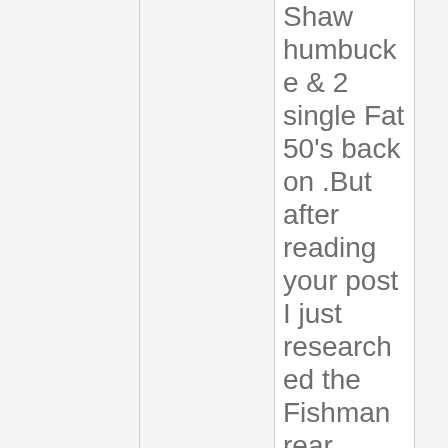Shaw humbucker & 2 single Fat 50's back on .But after reading your post I just researched the Fishman rear spring cover battery with USB